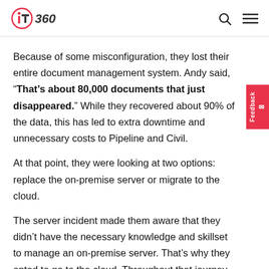IT360
Because of some misconfiguration, they lost their entire document management system. Andy said, “That’s about 80,000 documents that just disappeared.” While they recovered about 90% of the data, this has led to extra downtime and unnecessary costs to Pipeline and Civil.
At that point, they were looking at two options: replace the on-premise server or migrate to the cloud.
The server incident made them aware that they didn’t have the necessary knowledge and skillset to manage an on-premise server. That’s why they opted to go to the cloud. Throughout that journey, Andy shared four other benefits they now realised after switching to the cloud below.